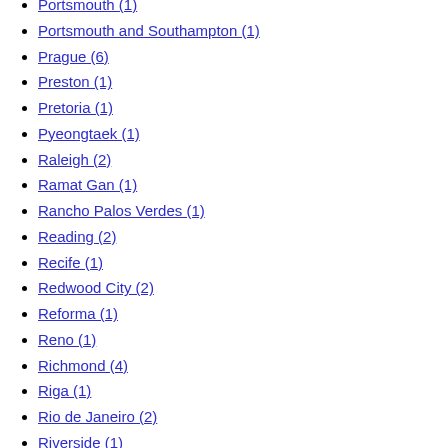Portsmouth (1)
Portsmouth and Southampton (1)
Prague (6)
Preston (1)
Pretoria (1)
Pyeongtaek (1)
Raleigh (2)
Ramat Gan (1)
Rancho Palos Verdes (1)
Reading (2)
Recife (1)
Redwood City (2)
Reforma (1)
Reno (1)
Richmond (4)
Riga (1)
Rio de Janeiro (2)
Riverside (1)
Rockford (1)
Rohnert Park (1)
Roma (1)
Rotterdam (10)
Rueil (1)
Sacramento (1)
Saint Quentin (1)
Saket New Delhi (2)